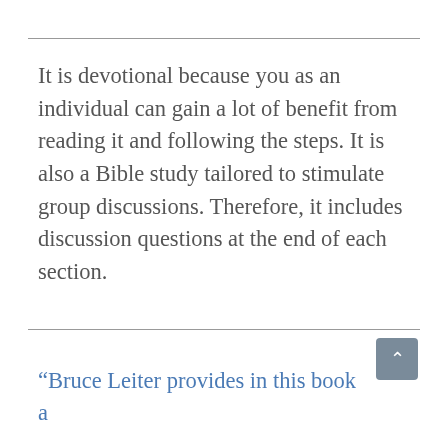It is devotional because you as an individual can gain a lot of benefit from reading it and following the steps. It is also a Bible study tailored to stimulate group discussions. Therefore, it includes discussion questions at the end of each section.
“Bruce Leiter provides in this book a